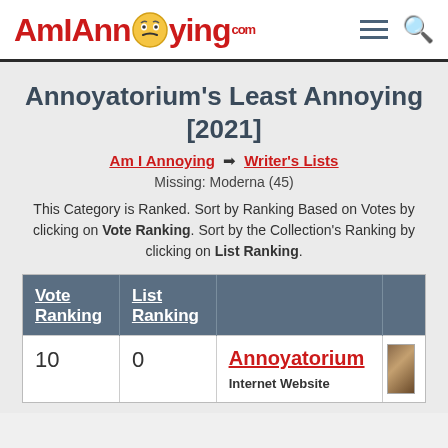AmIAnnoying.com
Annoyatorium's Least Annoying [2021]
Am I Annoying → Writer's Lists
Missing: Moderna (45)
This Category is Ranked. Sort by Ranking Based on Votes by clicking on Vote Ranking. Sort by the Collection's Ranking by clicking on List Ranking.
| Vote Ranking | List Ranking |  |  |
| --- | --- | --- | --- |
| 10 | 0 | Annoyatorium
Internet Website |  |